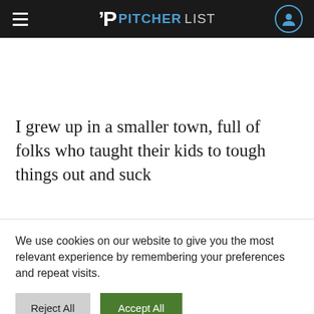PITCHERLIST
I grew up in a smaller town, full of folks who taught their kids to tough things out and suck
We use cookies on our website to give you the most relevant experience by remembering your preferences and repeat visits.